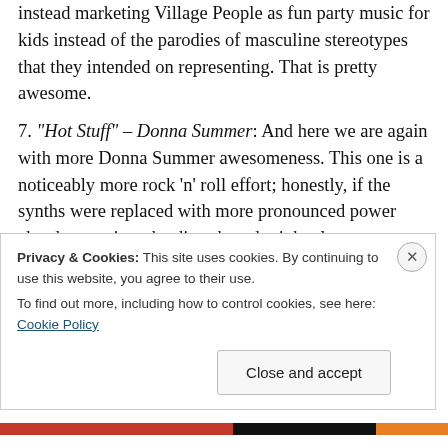instead marketing Village People as fun party music for kids instead of the parodies of masculine stereotypes that they intended on representing. That is pretty awesome.
7. “Hot Stuff” – Donna Summer: And here we are again with more Donna Summer awesomeness. This one is a noticeably more rock ‘n’ roll effort; honestly, if the synths were replaced with more pronounced power chords on guitar, the disco brand might almost disappear. As exemplified in “Love to Love You Baby” a few years earlier, Summer is no stranger when it comes to putting her sexuality on full display, and here she pretty much puts her
Privacy & Cookies: This site uses cookies. By continuing to use this website, you agree to their use.
To find out more, including how to control cookies, see here: Cookie Policy